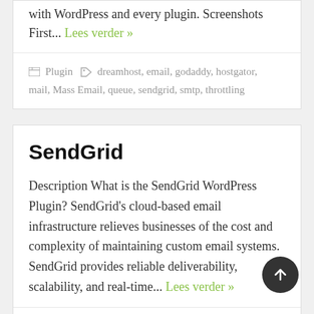with WordPress and every plugin. Screenshots First... Lees verder »
Plugin  dreamhost, email, godaddy, hostgator, mail, Mass Email, queue, sendgrid, smtp, throttling
SendGrid
Description What is the SendGrid WordPress Plugin? SendGrid's cloud-based email infrastructure relieves businesses of the cost and complexity of maintaining custom email systems. SendGrid provides reliable deliverability, scalability, and real-time... Lees verder »
Plugin  email, email reliability, email templates, sendgrid, smtp